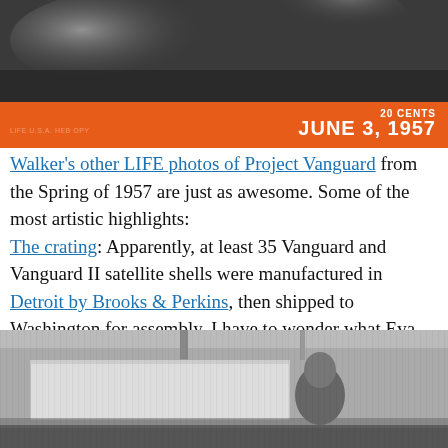[Figure (photo): Top portion of a LIFE magazine cover from June 3, 1957, showing an orange banner with '20 CENTS' and 'JUNE 3, 1957' text on the right side, against a dark photographic background.]
Walker’s other LIFE photos of Project Vanguard from the Spring of 1957 are just as awesome. Some of the most artistic highlights: The crating: Apparently, at least 35 Vanguard and Vanguard II satellite shells were manufactured in Detroit by Brooks & Perkins, then shipped to Washington for assembly. I have to wonder what Eva Hesse was doing while these things were being packed:
[Figure (photo): Black and white photograph showing a person (seen from the side/above) working with what appears to be a large flat panel or crate, in an industrial or workshop setting.]